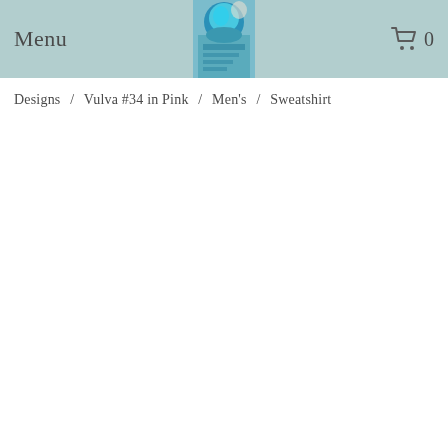Menu  [logo image]  0
Designs / Vulva #34 in Pink / Men's / Sweatshirt